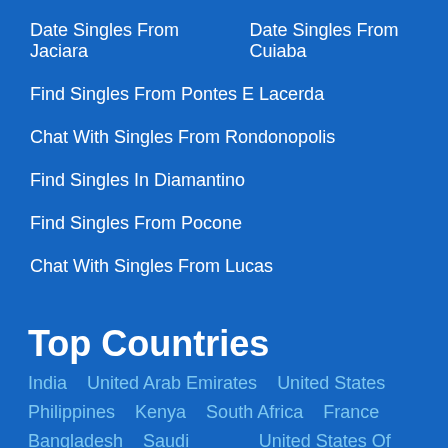Date Singles From Jaciara    Date Singles From Cuiaba
Find Singles From Pontes E Lacerda
Chat With Singles From Rondonopolis
Find Singles In Diamantino
Find Singles From Pocone
Chat With Singles From Lucas
[Figure (photo): Photo strip of people]
Top Countries
India    United Arab Emirates    United States
Philippines    Kenya    South Africa    France
Bangladesh    Saudi Arabia    United States Of America